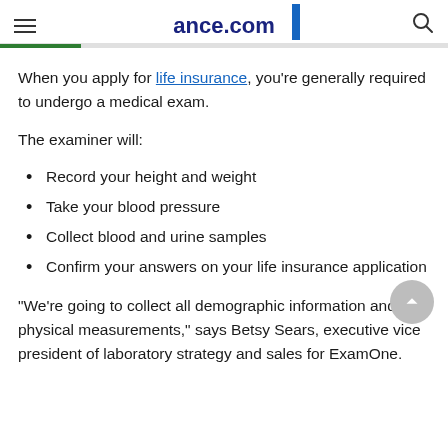ance.com
When you apply for life insurance, you're generally required to undergo a medical exam.
The examiner will:
Record your height and weight
Take your blood pressure
Collect blood and urine samples
Confirm your answers on your life insurance application
"We're going to collect all demographic information and physical measurements," says Betsy Sears, executive vice president of laboratory strategy and sales for ExamOne.